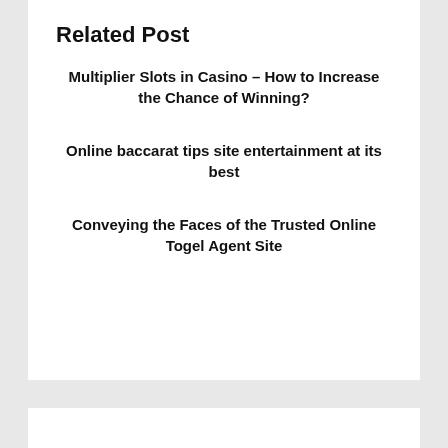Related Post
Multiplier Slots in Casino – How to Increase the Chance of Winning?
Online baccarat tips site entertainment at its best
Conveying the Faces of the Trusted Online Togel Agent Site